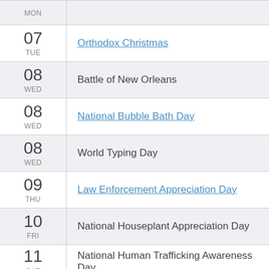MON (partial row at top)
07 TUE - Orthodox Christmas
08 WED - Battle of New Orleans
08 WED - National Bubble Bath Day
08 WED - World Typing Day
09 THU - Law Enforcement Appreciation Day
10 FRI - National Houseplant Appreciation Day
11 SAT - National Human Trafficking Awareness Day